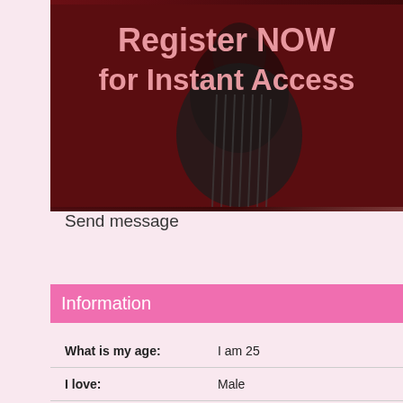[Figure (photo): Dark red/maroon background banner with a person in a striped shirt with text 'Register NOW for Instant Access' overlaid in pink/salmon colored large bold text]
Send message
Information
| What is my age: | I am 25 |
| I love: | Male |
| Color of my hair: | Black |